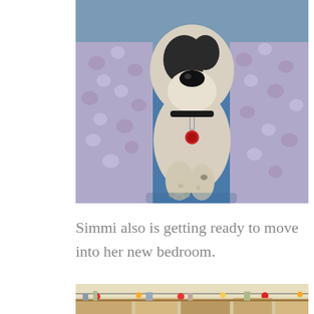[Figure (photo): A small black and white puppy with a red tag on its collar, wrapped in a lavender/purple fluffy blanket, sitting on someone's lap in a car. The puppy's paws are visible in front.]
Simmi also is getting ready to move into her new bedroom.
[Figure (photo): Partial view of a room with string lights and what appears to be furniture, cropped at the bottom of the page.]